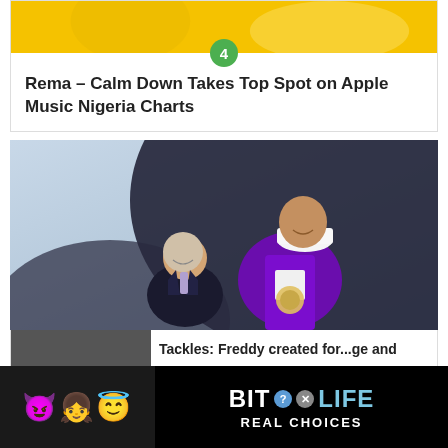[Figure (photo): Card with yellow/orange image at top, green badge with number 4, and article title below]
Rema – Calm Down Takes Top Spot on Apple Music Nigeria Charts
[Figure (photo): NBA Draft photo: Adam Silver with tall player wearing white Orlando Magic cap and purple jeweled suit]
Tackles: Freddy created for...ge and
[Figure (infographic): BitLife advertisement banner with emoji characters and REAL CHOICES text]